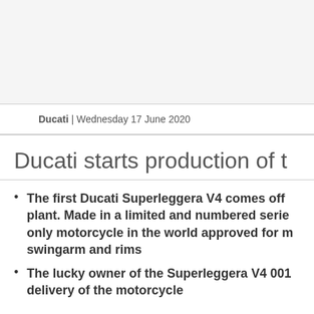Ducati | Wednesday 17 June 2020
Ducati starts production of t
The first Ducati Superleggera V4 comes off the plant. Made in a limited and numbered serie only motorcycle in the world approved for m swingarm and rims
The lucky owner of the Superleggera V4 001 delivery of the motorcycle